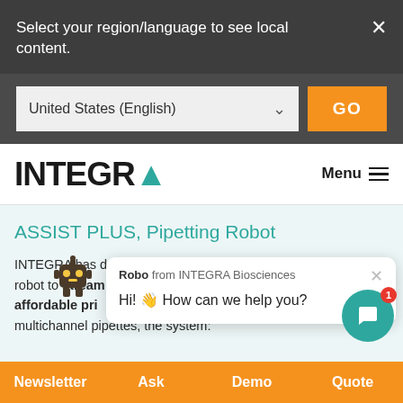Select your region/language to see local content.
United States (English)
INTEGRA
Menu
ASSIST PLUS, Pipetting Robot
INTEGRA has deve... robot to streamline... affordable price. U... multichannel pipettes, the system:
[Figure (screenshot): Chat popup from Robo from INTEGRA Biosciences saying Hi! How can we help you?]
Newsletter  Ask  Demo  Quote